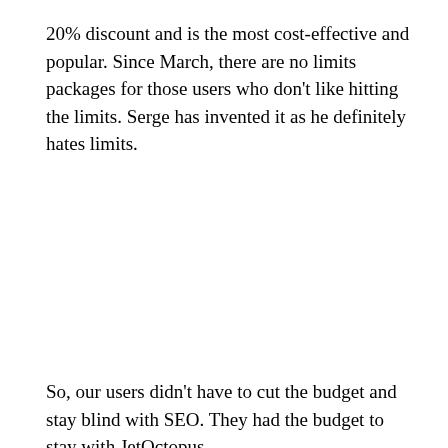20% discount and is the most cost-effective and popular. Since March, there are no limits packages for those users who don't like hitting the limits. Serge has invented it as he definitely hates limits.
So, our users didn't have to cut the budget and stay blind with SEO. They had the budget to stay with JetOctopus